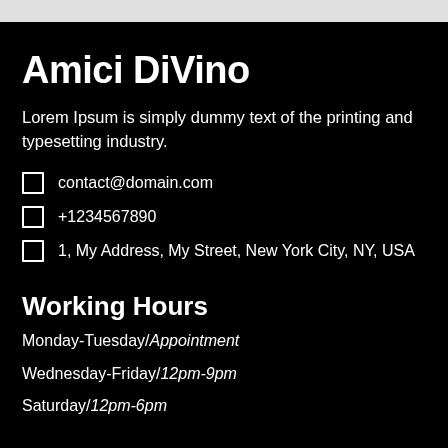Amici DiVino
Lorem Ipsum is simply dummy text of the printing and typesetting industry.
contact@domain.com
+1234567890
1, My Address, My Street, New York City, NY, USA
Working Hours
Monday-Tuesday/Appointment
Wednesday-Friday/12pm-9pm
Saturday/12pm-6pm